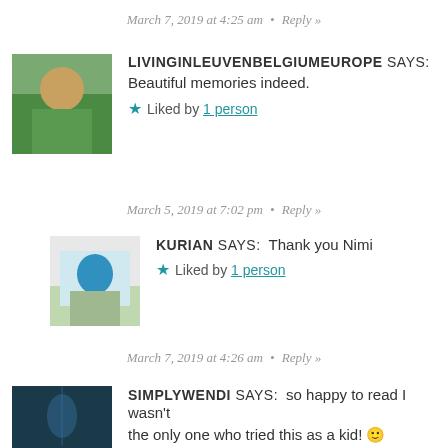March 7, 2019 at 4:25 am  •  Reply »
LIVINGINLEUVENBELGIUMEUROPE SAYS: Beautiful memories indeed.
★ Liked by 1 person
March 5, 2019 at 7:02 pm  •  Reply »
KURIAN SAYS: Thank you Nimi
★ Liked by 1 person
March 7, 2019 at 4:26 am  •  Reply »
SIMPLYWENDI SAYS: so happy to read I wasn't the only one who tried this as a kid! 🙂